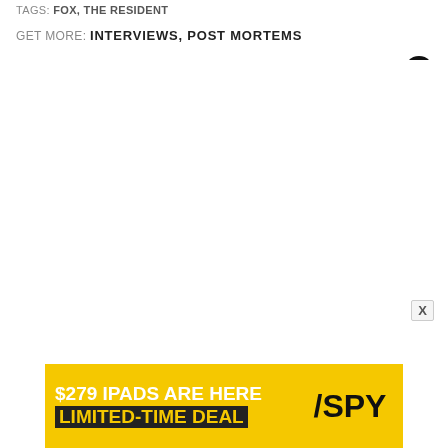TAGS: FOX, THE RESIDENT
GET MORE: INTERVIEWS, POST MORTEMS
[Figure (other): Close/dismiss button — black circle with white X]
[Figure (other): Small X close button for ad overlay]
[Figure (advertisement): Ad banner: '$279 IPADS ARE HERE LIMITED-TIME DEAL' with SPY logo on yellow background]